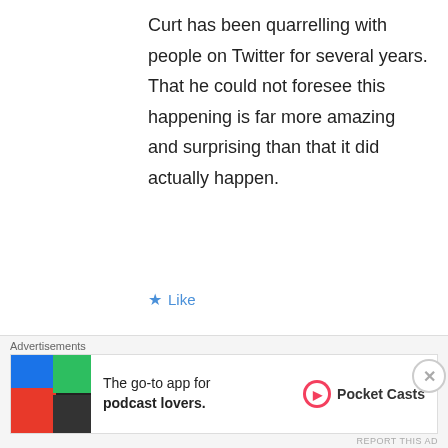Curt has been quarrelling with people on Twitter for several years. That he could not foresee this happening is far more amazing and surprising than that it did actually happen.
★ Like
[Figure (illustration): Blue square avatar icon with white power button symbol]
StoJa
MARCH 2, 2015 AT 11:09 PM
Did you read some of the
Advertisements
[Figure (screenshot): Pocket Casts advertisement banner: 'The go-to app for podcast lovers.' with colorful tile image and Pocket Casts logo]